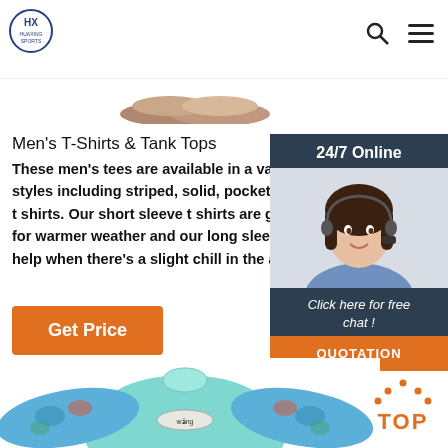HUAXING SPORTS
[Figure (photo): Top partial view of shoes/footwear products]
Men's T-Shirts & Tank Tops
These men's tees are available in a variety of styles including striped, solid, pocket, and v-neck t shirts. Our short sleeve t shirts are great for warmer weather and our long sleeve tees help when there's a slight chill in the air.
[Figure (photo): Customer service representative with headset, 24/7 Online chat widget with 'Click here for free chat!' and QUOTATION button]
[Figure (photo): Blue children's swim/rash guard shirt with colorful fish/ocean print on sleeves]
[Figure (logo): TOP navigation button with orange dots and orange text]